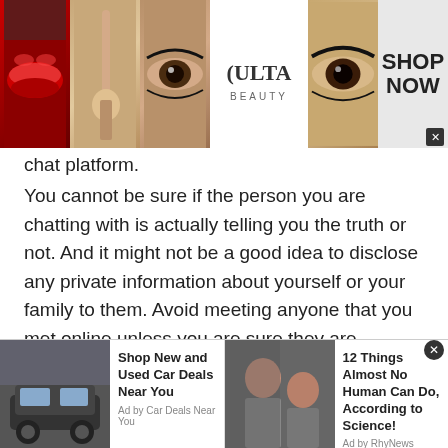[Figure (photo): Top advertisement banner for Ulta Beauty showing makeup images (lips, brush, eye), Ulta Beauty logo, eye detail, and 'SHOP NOW' call to action with close button]
chat platform.
You cannot be sure if the person you are chatting with is actually telling you the truth or not. And it might not be a good idea to disclose any private information about yourself or your family to them. Avoid meeting anyone that you met online unless you are sure they are trustworthy.
Do not Be Fooled with Links
Most people make the mistake of clicking a suspicious link
[Figure (screenshot): Bottom advertisement bar showing two ads: 'Shop New and Used Car Deals Near You' by Car Deals Near You, and '12 Things Almost No Human Can Do, According to Science!' by RhyNews. Close button overlay on right side.]